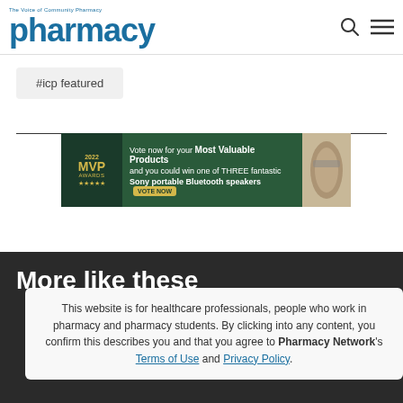pharmacy — The Voice of Community Pharmacy
#icp featured
[Figure (infographic): 2022 MVP Awards banner: Vote now for your Most Valuable Products and you could win one of THREE fantastic Sony portable Bluetooth speakers. VOTE NOW button. MVP badge with stars on left, speaker image on right.]
More like these
This website is for healthcare professionals, people who work in pharmacy and pharmacy students. By clicking into any content, you confirm this describes you and that you agree to Pharmacy Network's Terms of Use and Privacy Policy.